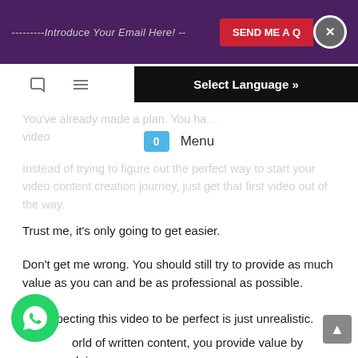---------Introduce Your Email Here! -- SEND ME A Q [X]
Select Language »
You've already made a plan. You ha... video
0  Menu
Instead of trying to figure out the perfect way to start your video content creation journey, just get that first video out of the way.
Trust me, it's only going to get easier.
Don't get me wrong. You should still try to provide as much value as you can and be as professional as possible.
But expecting this video to be perfect is just unrealistic.
...orld of written content, you provide value by doing ...thing from offering tangible advice to being a great stor...teller